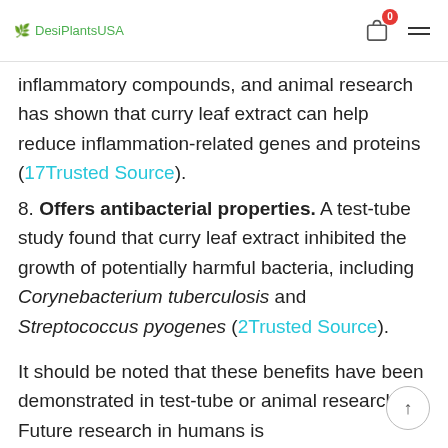DesiPlantsUSA
inflammatory compounds, and animal research has shown that curry leaf extract can help reduce inflammation-related genes and proteins (17Trusted Source).
8. Offers antibacterial properties. A test-tube study found that curry leaf extract inhibited the growth of potentially harmful bacteria, including Corynebacterium tuberculosis and Streptococcus pyogenes (2Trusted Source).
It should be noted that these benefits have been demonstrated in test-tube or animal research. Future research in humans is